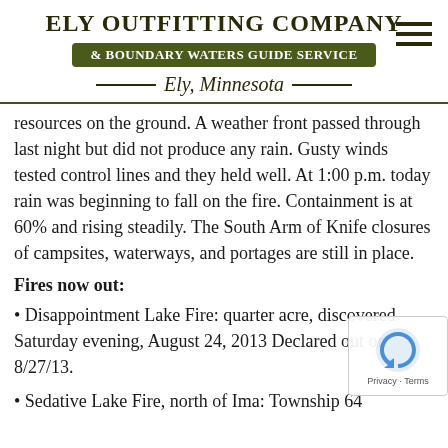ELY OUTFITTING COMPANY & BOUNDARY WATERS GUIDE SERVICE — Ely, Minnesota
resources on the ground. A weather front passed through last night but did not produce any rain. Gusty winds tested control lines and they held well. At 1:00 p.m. today rain was beginning to fall on the fire. Containment is at 60% and rising steadily. The South Arm of Knife closures of campsites, waterways, and portages are still in place.
Fires now out:
Disappointment Lake Fire: quarter acre, discovered Saturday evening, August 24, 2[013]. Declared out on 8/27/13.
Sedative Lake Fire, north of Ima: Township 64